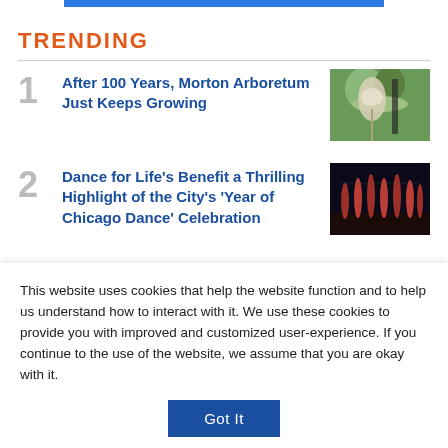TRENDING
After 100 Years, Morton Arboretum Just Keeps Growing
Dance for Life's Benefit a Thrilling Highlight of the City's 'Year of Chicago Dance' Celebration
2 Dead, 1 Missing in Deadly 24
This website uses cookies that help the website function and to help us understand how to interact with it. We use these cookies to provide you with improved and customized user-experience. If you continue to the use of the website, we assume that you are okay with it.